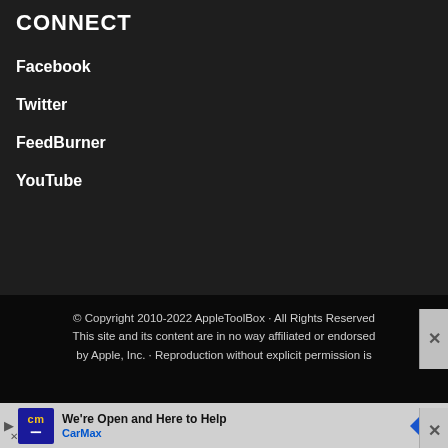CONNECT
Facebook
Twitter
FeedBurner
YouTube
© Copyright 2010-2022 AppleToolBox · All Rights Reserved This site and its content are in no way affiliated or endorsed by Apple, Inc. · Reproduction without explicit permission is prohibited.
[Figure (infographic): CarMax advertisement banner with logo, 'We're Open and Here to Help' headline, CarMax brand name, navigation arrow icon, and close button.]